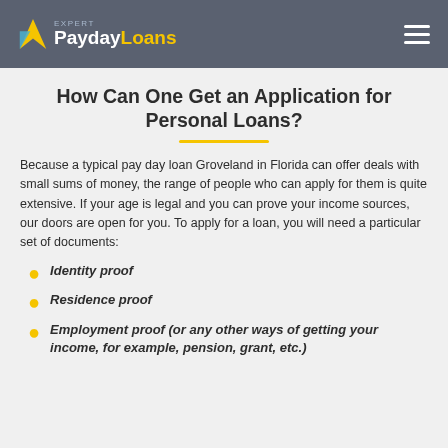Payday Loans Expert
How Can One Get an Application for Personal Loans?
Because a typical pay day loan Groveland in Florida can offer deals with small sums of money, the range of people who can apply for them is quite extensive. If your age is legal and you can prove your income sources, our doors are open for you. To apply for a loan, you will need a particular set of documents:
Identity proof
Residence proof
Employment proof (or any other ways of getting your income, for example, pension, grant, etc.)